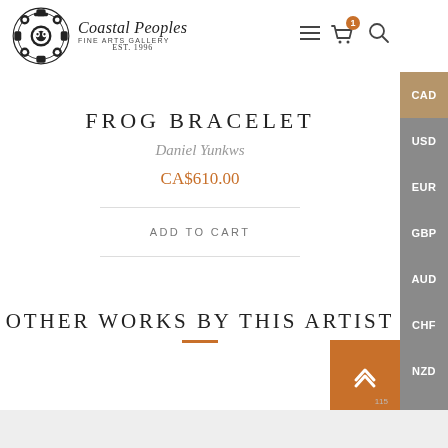Coastal Peoples Fine Arts Gallery EST. 1996
FROG BRACELET
Daniel Yunkws
CA$610.00
ADD TO CART
OTHER WORKS BY THIS ARTIST